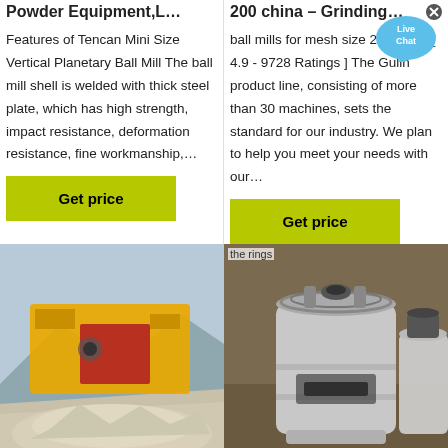Powder Equipment,L…
200 china – Grinding…
Features of Tencan Mini Size Vertical Planetary Ball Mill The ball mill shell is welded with thick steel plate, which has high strength, impact resistance, deformation resistance, fine workmanship,…
ball mills for mesh size 200 china [ 4.9 - 9728 Ratings ] The Gulin product line, consisting of more than 30 machines, sets the standard for our industry. We plan to help you meet your needs with our…
[Figure (photo): Yellow and red industrial crushing/screening machine with aggregate/gravel pile in foreground, outdoor industrial setting]
the rings
[Figure (photo): Close-up of laboratory ball mill grinding jar/container with lid and rings, metal construction]
[Figure (other): Live Chat speech bubble overlay icon with blue chat bubble and x close button]
PETS Grinding machine…
China Ball Mill A…